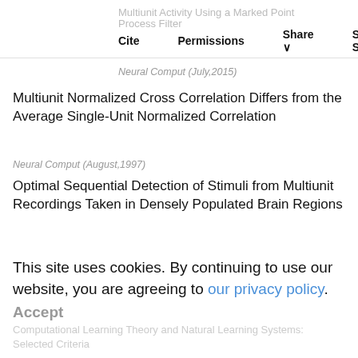Multiunit Activity Using a Marked Point Process Filter
Cite  Permissions  Share  Search Site
Neural Comput (July,2015)
Multiunit Normalized Cross Correlation Differs from the Average Single-Unit Normalized Correlation
Neural Comput (August,1997)
Optimal Sequential Detection of Stimuli from Multiunit Recordings Taken in Densely Populated Brain Regions
Neural Comput (April,2012)
Related Book Chapters
This site uses cookies. By continuing to use our website, you are agreeing to our privacy policy. Accept
Computational Learning Theory and Natural Learning Systems: Selected Criteria